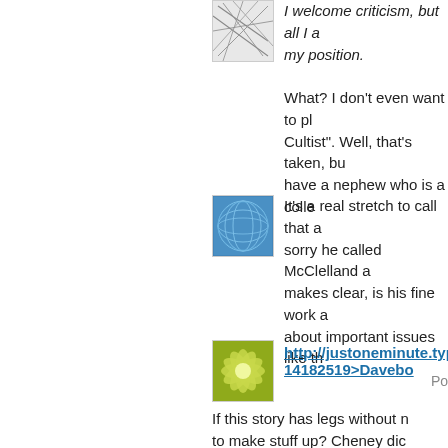[Figure (illustration): Abstract blue/grey intersecting lines avatar image]
I welcome criticism, but all I a... my position.
What? I don't even want to pl... Cultist". Well, that's taken, bu... have a nephew who is a colle...
[Figure (illustration): Abstract blue geometric grid/sphere pattern avatar image]
It's a real stretch to call that a... sorry he called McClelland a... makes clear, is his fine work a... about important issues like th...
Po...
[Figure (illustration): Yellow-green flower/starburst pattern avatar image]
http://justoneminute.typepa... 14182519>Davebo
If this story has legs without n... to make stuff up? Cheney dic... authorities.